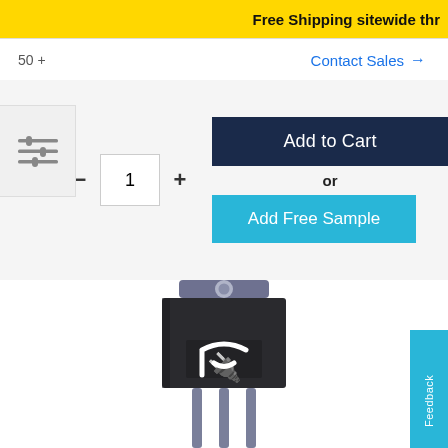Free Shipping sitewide thr
50 +
Contact Sales →
− 1 +
Add to Cart
or
Add Free Sample
[Figure (illustration): Electronic component - transistor/semiconductor in TO-220 package with ST Microelectronics logo, black body with three leads]
Feedback